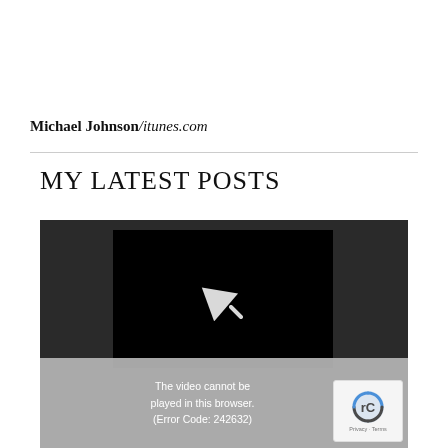Michael Johnson/itunes.com
MY LATEST POSTS
[Figure (screenshot): Video player showing a black screen with a play/arrow icon. Below the player is an error overlay with text: The video cannot be played in this browser. (Error Code: 242632). A reCAPTCHA badge is visible in the bottom right corner.]